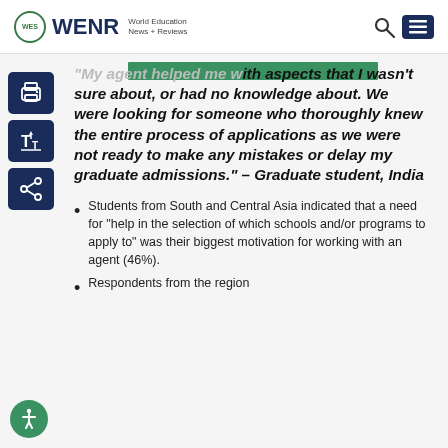WENR World Education News + Reviews
"My agent helped me with aspects that I wasn't sure about, or had no knowledge about. We were looking for someone who thoroughly knew the entire process of applications as we were not ready to make any mistakes or delay my graduate admissions." – Graduate student, India
Students from South and Central Asia indicated that a need for “help in the selection of which schools and/or programs to apply to” was their biggest motivation for working with an agent (46%).
Respondents from the region